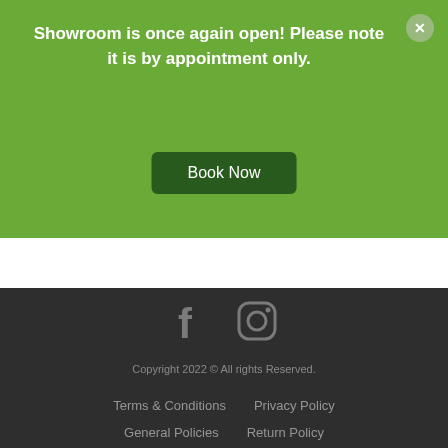Showroom is once again open! Please note it is by appointment only.
Book Now
[Figure (illustration): Social media icons: Facebook and Instagram in gray on dark background]
Copyright 2022 © All rights Reserved.
Terms & Conditions
Privacy Policy
General Policies
Return Policy